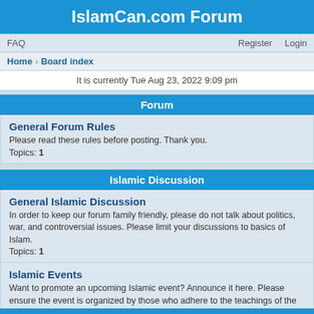IslamCan.com Forum
FAQ    Register    Login
Home › Board index
It is currently Tue Aug 23, 2022 9:09 pm
Forum
General Forum Rules
Please read these rules before posting. Thank you.
Topics: 1
Islamic Discussion
General Islamic Discussion
In order to keep our forum family friendly, please do not talk about politics, war, and controversial issues. Please limit your discussions to basics of Islam.
Topics: 1
Islamic Events
Want to promote an upcoming Islamic event? Announce it here. Please ensure the event is organized by those who adhere to the teachings of the Quran and the Sunnah.
Requests for Dua
Are you or someone you know facing difficulties? This is the place where you can ask others to make dua.